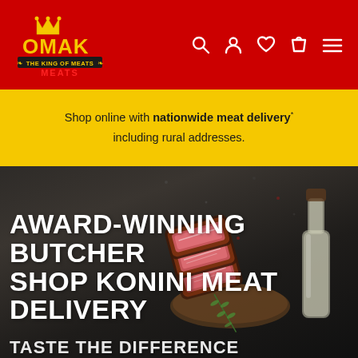[Figure (logo): OMAK The King of Meats logo — crown above OMAK text with ribbon banner reading THE KING OF MEATS and MEATS in red below, on red background]
[Figure (infographic): Navigation icons: search (magnifier), account (person), wishlist (heart), cart (bag), menu (hamburger) — white icons on red background]
Shop online with nationwide meat delivery* including rural addresses.
[Figure (photo): Dark slate background with sliced grilled steak cuts showing pink interior, a clear glass bottle, rosemary sprig, and scattered peppercorns — hero image for butcher shop]
AWARD-WINNING BUTCHER SHOP KONINI MEAT DELIVERY
TASTE THE DIFFERENCE